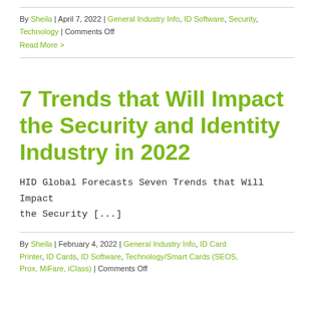By Sheila | April 7, 2022 | General Industry Info, ID Software, Security, Technology | Comments Off
Read More >
7 Trends that Will Impact the Security and Identity Industry in 2022
HID Global Forecasts Seven Trends that Will Impact the Security [...]
By Sheila | February 4, 2022 | General Industry Info, ID Card Printer, ID Cards, ID Software, Technology/Smart Cards (SEOS, Prox, MiFare, iClass) | Comments Off